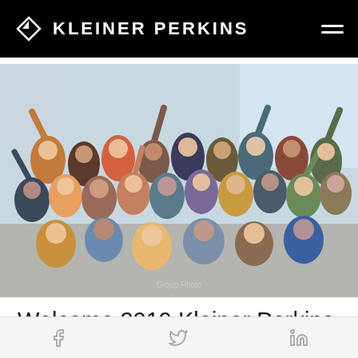KLEINER PERKINS
[Figure (photo): Large group photo of approximately 60 diverse young people celebrating indoors, smiling and waving with arms raised. This is the 2019 Kleiner Perkins Fellows cohort photo taken in a bright indoor venue.]
Welcome 2019 Kleiner Perkins Fellows!
Facebook | Twitter | LinkedIn social share icons